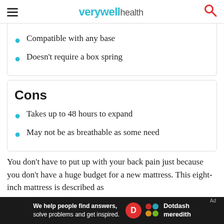verywell health
Compatible with any base
Doesn't require a box spring
Cons
Takes up to 48 hours to expand
May not be as breathable as some need
You don't have to put up with your back pain just because you don't have a huge budget for a new mattress. This eight-inch mattress is described as
[Figure (other): Advertisement bar: 'We help people find answers, solve problems and get inspired.' with Dotdash Meredith logo]